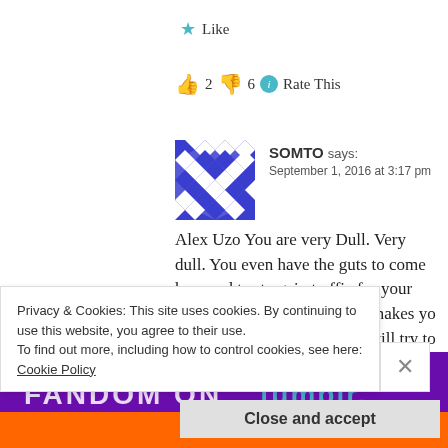★ Like
👍 2 👎 6 ℹ Rate This
SOMTO says:
September 1, 2016 at 3:17 pm
Alex Uzo You are very Dull. Very dull. You even have the guts to come here and try to gain traffic for your book by talking rubbish that makes yo duller. The fact that you can still try to support someone who was a threat to free
more pathetic. You're Lucky I have seen this just too late you don't
Privacy & Cookies: This site uses cookies. By continuing to use this website, you agree to their use.
To find out more, including how to control cookies, see here: Cookie Policy
Close and accept
Advertisements